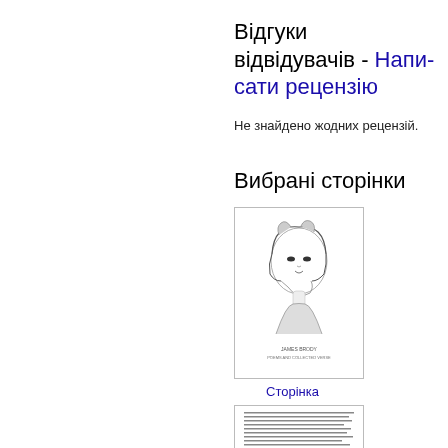Відгуки відвідувачів - Написати рецензію
Не знайдено жодних рецензій.
Вибрані сторінки
[Figure (illustration): Book cover thumbnail showing a portrait illustration of a woman in profile, with small text at the bottom]
Сторінка
[Figure (illustration): Second book page thumbnail showing dense text content]